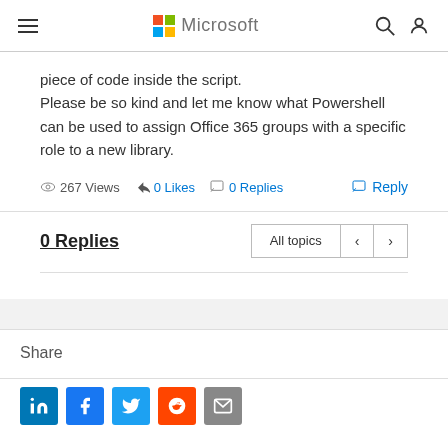Microsoft
piece of code inside the script.
Please be so kind and let me know what Powershell can be used to assign Office 365 groups with a specific role to a new library.
267 Views  0 Likes  0 Replies  Reply
0 Replies
Share